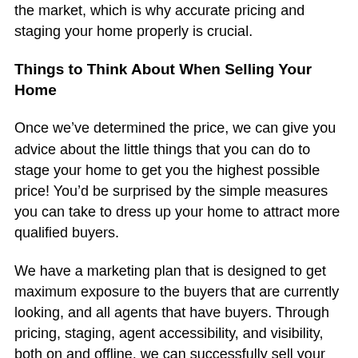the market, which is why accurate pricing and staging your home properly is crucial.
Things to Think About When Selling Your Home
Once we've determined the price, we can give you advice about the little things that you can do to stage your home to get you the highest possible price! You'd be surprised by the simple measures you can take to dress up your home to attract more qualified buyers.
We have a marketing plan that is designed to get maximum exposure to the buyers that are currently looking, and all agents that have buyers. Through pricing, staging, agent accessibility, and visibility, both on and offline, we can successfully sell your